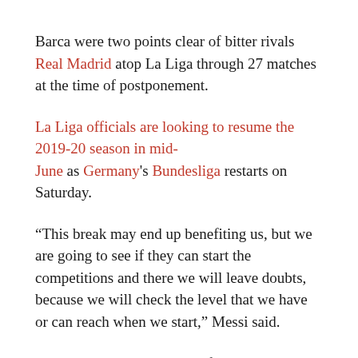Barca were two points clear of bitter rivals Real Madrid atop La Liga through 27 matches at the time of postponement.
La Liga officials are looking to resume the 2019-20 season in mid-June as Germany's Bundesliga restarts on Saturday.
“This break may end up benefiting us, but we are going to see if they can start the competitions and there we will leave doubts, because we will check the level that we have or can reach when we start,” Messi said.
“Going back to training is a first step but we should not trust ourselves and we must